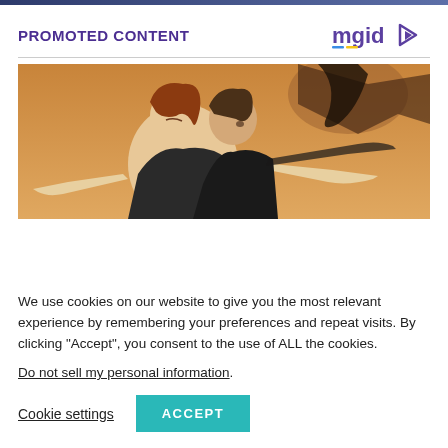PROMOTED CONTENT
[Figure (logo): MGID logo with play button icon in purple/teal colors]
[Figure (photo): Movie still from Titanic showing a woman with red hair and a man standing behind her with arms outstretched, warm amber background]
We use cookies on our website to give you the most relevant experience by remembering your preferences and repeat visits. By clicking “Accept”, you consent to the use of ALL the cookies.
Do not sell my personal information.
Cookie settings
ACCEPT